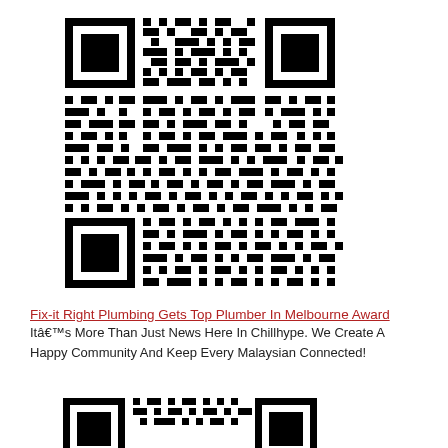[Figure (other): QR code image, black and white pattern]
Fix-it Right Plumbing Gets Top Plumber In Melbourne Award
Itâ€™s More Than Just News Here In Chillhype. We Create A Happy Community And Keep Every Malaysian Connected!
[Figure (other): QR code image, black and white pattern]
Fix-it Right Plumbing Gets Top Plumber In Melbourne Award
Itâ€™s More Than Just News Here In Chillhype. We Create A Happy Community And Keep Every Malaysian Connected!
[Figure (other): QR code image, black and white pattern (partially visible)]